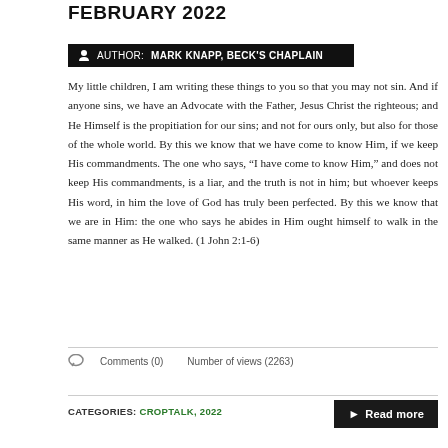FEBRUARY 2022
AUTHOR: MARK KNAPP, BECK'S CHAPLAIN
My little children, I am writing these things to you so that you may not sin. And if anyone sins, we have an Advocate with the Father, Jesus Christ the righteous; and He Himself is the propitiation for our sins; and not for ours only, but also for those of the whole world. By this we know that we have come to know Him, if we keep His commandments. The one who says, “I have come to know Him,” and does not keep His commandments, is a liar, and the truth is not in him; but whoever keeps His word, in him the love of God has truly been perfected. By this we know that we are in Him: the one who says he abides in Him ought himself to walk in the same manner as He walked. (1 John 2:1-6)
Comments (0)    Number of views (2263)
CATEGORIES: CROPTALK, 2022
Read more